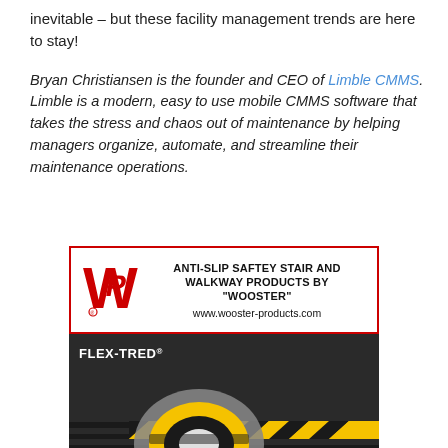inevitable – but these facility management trends are here to stay!
Bryan Christiansen is the founder and CEO of Limble CMMS. Limble is a modern, easy to use mobile CMMS software that takes the stress and chaos out of maintenance by helping managers organize, automate, and streamline their maintenance operations.
[Figure (photo): Advertisement for Wooster anti-slip safety stair and walkway products featuring the WP logo, product name FLEX-TRED and STAIRMASTER, and website www.wooster-products.com]